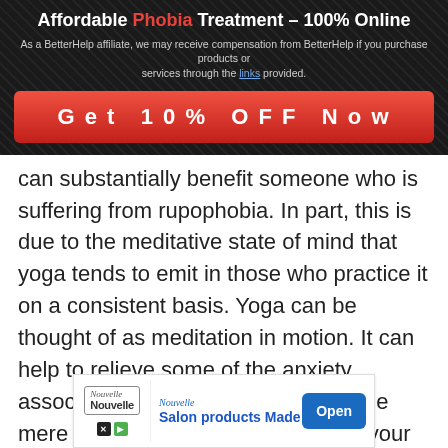[Figure (infographic): Advertisement banner: 'Affordable Phobia Treatment - 100% Online' with BetterHelp affiliate disclaimer and 'Get 10% OFF Now' red CTA button]
can substantially benefit someone who is suffering from rupophobia. In part, this is due to the meditative state of mind that yoga tends to emit in those who practice it on a consistent basis. Yoga can be thought of as meditation in motion. It can help to relieve some of the anxiety associated with rupophobia due to the mere fact that by engaging in yoga, your attention will be redirected to something more productive.
[Figure (infographic): Advertisement for Nouvelle salon products: 'Salon products Made in Italy' with Open button]